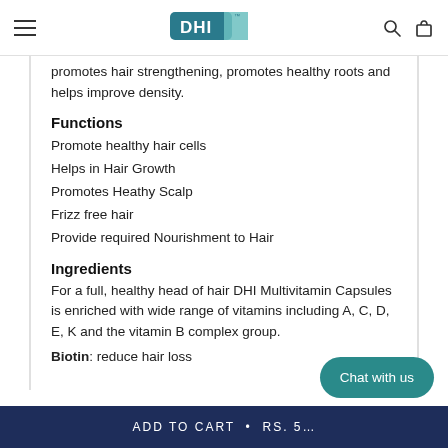DHI — navigation header with hamburger menu, DHI logo, search and cart icons
promotes hair strengthening, promotes healthy roots and helps improve density.
Functions
Promote healthy hair cells
Helps in Hair Growth
Promotes Heathy Scalp
Frizz free hair
Provide required Nourishment to Hair
Ingredients
For a full, healthy head of hair DHI Multivitamin Capsules is enriched with wide range of vitamins including A, C, D, E, K and the vitamin B complex group.
Biotin: reduce hair loss
ADD TO CART • RS. 5[partially visible]